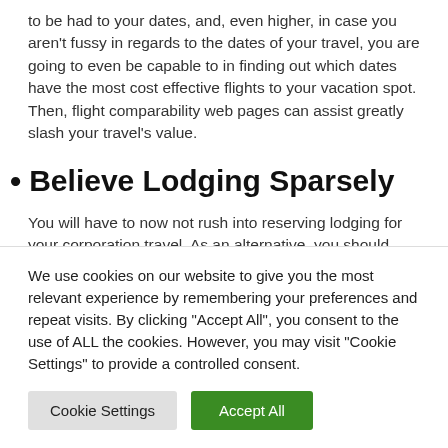to be had to your dates, and, even higher, in case you aren't fussy in regards to the dates of your travel, you are going to even be capable to in finding out which dates have the most cost effective flights to your vacation spot. Then, flight comparability web pages can assist greatly slash your travel's value.
• Believe Lodging Sparsely
You will have to now not rush into reserving lodging for your corporation travel. As an alternative, you should moderately believe the other lodging choices moderately
We use cookies on our website to give you the most relevant experience by remembering your preferences and repeat visits. By clicking "Accept All", you consent to the use of ALL the cookies. However, you may visit "Cookie Settings" to provide a controlled consent.